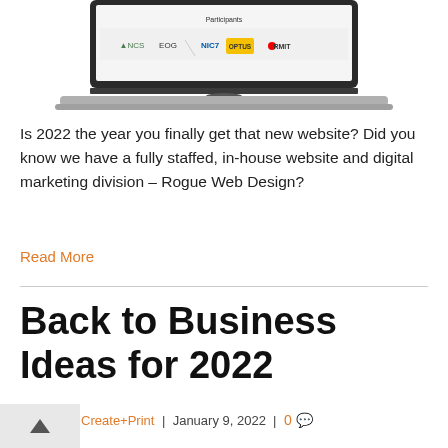[Figure (screenshot): Laptop computer displaying a webpage with sponsor/participant logos including NCS, EOG, NIC7, OPTUS, and RMIT]
Is 2022 the year you finally get that new website? Did you know we have a fully staffed, in-house website and digital marketing division – Rogue Web Design?
Read More
Back to Business Ideas for 2022
By Rogue Create+Print | January 9, 2022 | 0